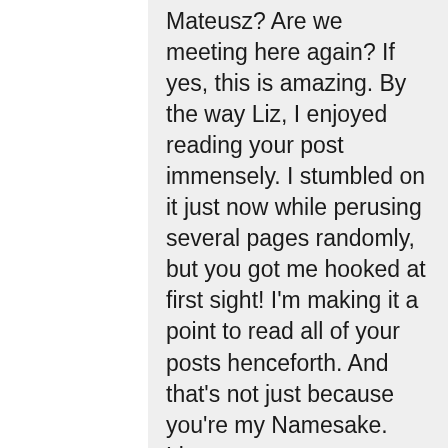Mateusz? Are we meeting here again? If yes, this is amazing. By the way Liz, I enjoyed reading your post immensely. I stumbled on it just now while perusing several pages randomly, but you got me hooked at first sight! I'm making it a point to read all of your posts henceforth. And that's not just because you're my Namesake.
Li